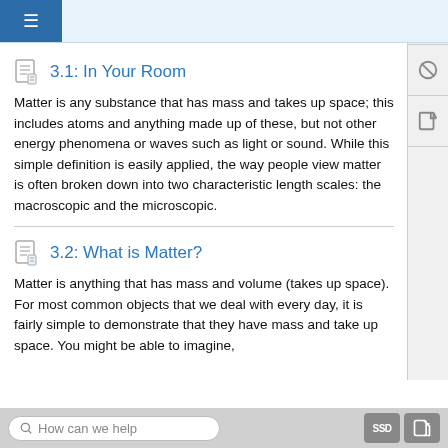Navigation menu and top bar
3.1: In Your Room
Matter is any substance that has mass and takes up space; this includes atoms and anything made up of these, but not other energy phenomena or waves such as light or sound. While this simple definition is easily applied, the way people view matter is often broken down into two characteristic length scales: the macroscopic and the microscopic.
3.2: What is Matter?
Matter is anything that has mass and volume (takes up space). For most common objects that we deal with every day, it is fairly simple to demonstrate that they have mass and take up space. You might be able to imagine,
How can we help